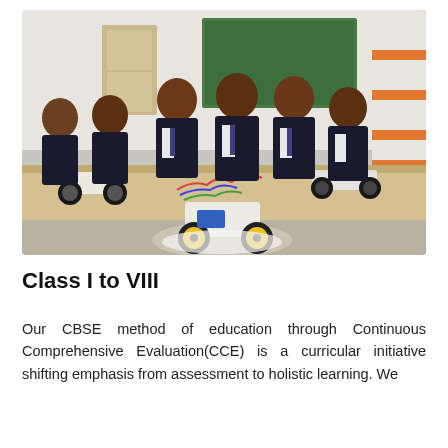[Figure (photo): A classroom scene showing school children in dark blazer uniforms sitting and standing around tables with robotic car models made of wires, wheels, and electronic components. A green chalkboard and orange-accented walls are visible in the background.]
Class I to VIII
Our CBSE method of education through Continuous Comprehensive Evaluation(CCE) is a curricular initiative shifting emphasis from assessment to holistic learning. We